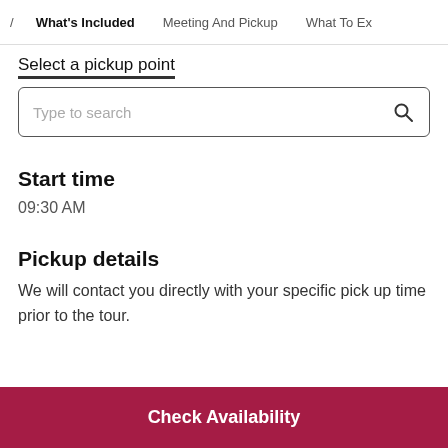/ What's Included  Meeting And Pickup  What To Ex
Select a pickup point
Type to search
Start time
09:30 AM
Pickup details
We will contact you directly with your specific pick up time prior to the tour.
Check Availability